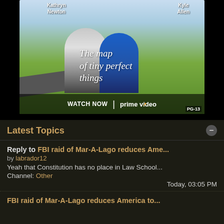[Figure (photo): Amazon Prime Video advertisement for 'The Map of Tiny Perfect Things' showing two actors walking together, with text 'Kathryn Newton', 'Kyle Allen', movie title in handwritten style, 'WATCH NOW | prime video', and 'PG-13' rating.]
Latest Topics
Reply to FBI raid of Mar-A-Lago reduces Ame...
by labrador12
Yeah that Constitution has no place in Law School...
Channel: Other
Today, 03:05 PM
FBI raid of Mar-A-Lago reduces America to...